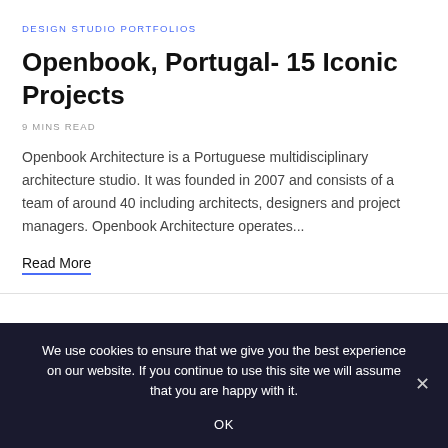DESIGN STUDIO PORTFOLIOS
Openbook, Portugal- 15 Iconic Projects
9 MINS READ
Openbook Architecture is a Portuguese multidisciplinary architecture studio. It was founded in 2007 and consists of a team of around 40 including architects, designers and project managers. Openbook Architecture operates...
Read More
We use cookies to ensure that we give you the best experience on our website. If you continue to use this site we will assume that you are happy with it.
OK